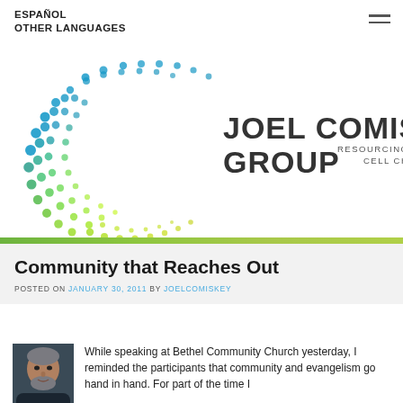ESPAÑOL
OTHER LANGUAGES
[Figure (logo): Joel Comiskey Group logo - spiral of blue/green dots forming a C shape, with text JOEL COMISKEY GROUP RESOURCING THE WORLDWIDE CELL CHURCH]
Community that Reaches Out
POSTED ON JANUARY 30, 2011 BY JOELCOMISKEY
[Figure (photo): Headshot photo of a man with short grey hair and beard, wearing dark clothing]
While speaking at Bethel Community Church yesterday, I reminded the participants that community and evangelism go hand in hand. For part of the time I